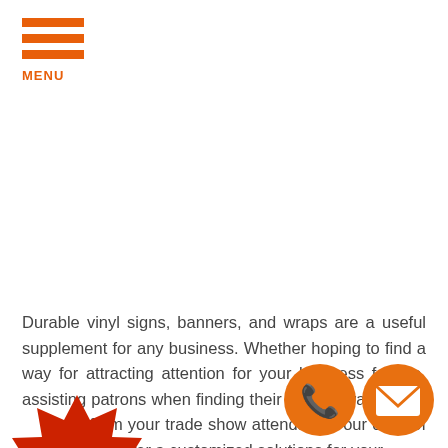[Figure (logo): Orange hamburger menu icon with three horizontal bars and MENU text below]
Durable vinyl signs, banners, and wraps are a useful supplement for any business. Whether hoping to find a way for attracting attention for your business facade, assisting patrons when finding their way, or want to get from your trade show attendance, our crew of pros offer a customized solutions for your
[Figure (infographic): Red starburst badge with white text reading '1 Year Warranty']
We your experienced all-inclusive rge hat
[Figure (infographic): Orange circle with white telephone handset icon]
[Figure (infographic): Orange circle with white envelope/mail icon]